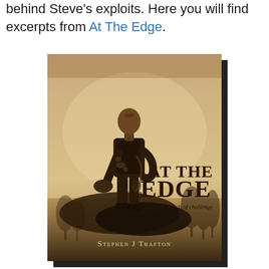behind Steve's exploits. Here you will find excerpts from At The Edge.
[Figure (photo): Book cover of 'At The Edge: A life in search of challenge' by Stephen J Trafton. Shows a sepia-toned image of a man in climbing gear looking upward, standing on a rock with climbing equipment. Title text reads AT THE EDGE in large letters, subtitle 'A life in search of challenge', author name 'Stephen J Trafton' at bottom.]